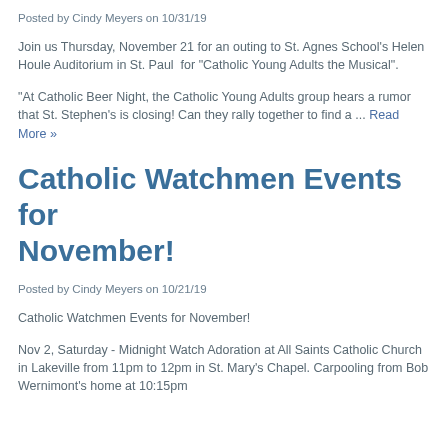Posted by Cindy Meyers on 10/31/19
Join us Thursday, November 21 for an outing to St. Agnes School's Helen Houle Auditorium in St. Paul  for "Catholic Young Adults the Musical".
"At Catholic Beer Night, the Catholic Young Adults group hears a rumor that St. Stephen's is closing! Can they rally together to find a ... Read More »
Catholic Watchmen Events for November!
Posted by Cindy Meyers on 10/21/19
Catholic Watchmen Events for November!
Nov 2, Saturday - Midnight Watch Adoration at All Saints Catholic Church in Lakeville from 11pm to 12pm in St. Mary's Chapel. Carpooling from Bob Wernimont's home at 10:15pm